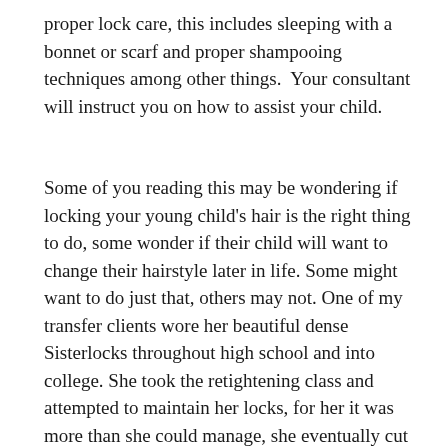proper lock care, this includes sleeping with a bonnet or scarf and proper shampooing techniques among other things.  Your consultant will instruct you on how to assist your child.
Some of you reading this may be wondering if locking your young child's hair is the right thing to do, some wonder if their child will want to change their hairstyle later in life. Some might want to do just that, others may not. One of my transfer clients wore her beautiful dense Sisterlocks throughout high school and into college. She took the retightening class and attempted to maintain her locks, for her it was more than she could manage, she eventually cut her locks and now is the proud wearer of a TWA, she loves every inch of it. I believe Sisterlocks instill in our young girls a sense of pride in their natural hair, the freedoms they enjoy during their Sisterlocks journey prepares them for what lies ahead as it relates to matters of the hair.